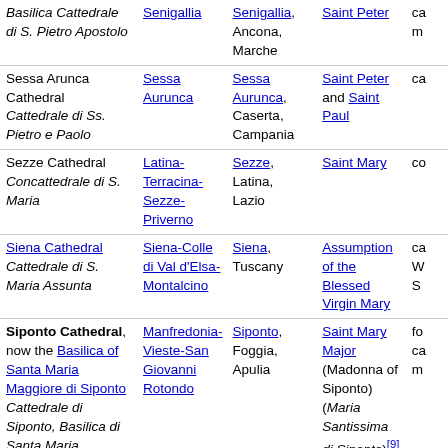| Cathedral name | Diocese | Location | Dedication | Notes |
| --- | --- | --- | --- | --- |
| Basilica Cattedrale di S. Pietro Apostolo | Senigallia | Senigallia, Ancona, Marche | Saint Peter | ca m |
| Sessa Arunca Cathedral Cattedrale di Ss. Pietro e Paolo | Sessa Aurunca | Sessa Aurunca, Caserta, Campania | Saint Peter and Saint Paul | ca |
| Sezze Cathedral Concattedrale di S. Maria | Latina-Terracina-Sezze-Priverno | Sezze, Latina, Lazio | Saint Mary | co |
| Siena Cathedral Cattedrale di S. Maria Assunta | Siena-Colle di Val d'Elsa-Montalcino | Siena, Tuscany | Assumption of the Blessed Virgin Mary | ca W S |
| Siponto Cathedral, now the Basilica of Santa Maria Maggiore di Siponto Cattedrale di Siponto, Basilica di Santa Maria | Manfredonia-Vieste-San Giovanni Rotondo | Siponto, Foggia, Apulia | Saint Mary Major (Madonna of Siponto) (Maria Santissima di Siponto)[9] | fo ca m |